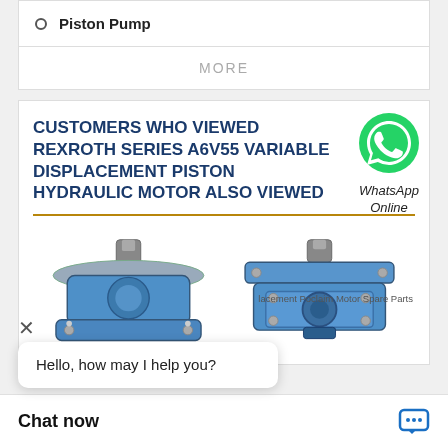Piston Pump
MORE
CUSTOMERS WHO VIEWED REXROTH SERIES A6V55 VARIABLE DISPLACEMENT PISTON HYDRAULIC MOTOR ALSO VIEWED
[Figure (photo): WhatsApp online badge with green WhatsApp icon and italic text 'WhatsApp Online']
[Figure (photo): Two blue hydraulic piston motors/pumps side by side, showing top-mounted shaft and mounting flange]
Hello, how may I help you?
Chat now
lacement Poclaim Motor Spare Parts